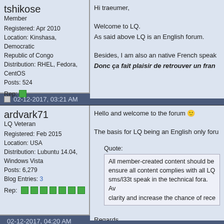tshikose
Member
Registered: Apr 2010
Location: Kinshasa, Democratic Republic of Congo
Distribution: RHEL, Fedora, CentOS
Posts: 524
Rep: [green square]
Hi traeumer,
Welcome to LQ.
As said above LQ is an English forum.
Besides, I am also an native French speak...
Donc ça fait plaisir de retrouver un fran...
02-12-2017, 03:21 AM
ardvark71
LQ Veteran
Registered: Feb 2015
Location: USA
Distribution: Lubuntu 14.04, Windows Vista
Posts: 6,279
Blog Entries: 3
Rep: [green squares x7]
Hello and welcome to the forum :)
The basis for LQ being an English only foru...
Quote:
All member-created content should be ... ensure all content complies with all LQ ... sms/l33t speak in the technical fora. Av... clarity and increase the chance of rece...
Regards...
Last edited by ardvark71; 02-12-2017 at 03:22 AM.
02-12-2017, 04:20 AM